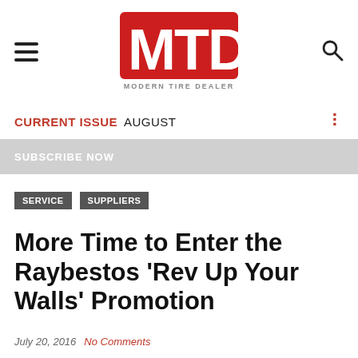MTD Modern Tire Dealer
CURRENT ISSUE AUGUST
SUBSCRIBE NOW
SERVICE
SUPPLIERS
More Time to Enter the Raybestos 'Rev Up Your Walls' Promotion
July 20, 2016   No Comments